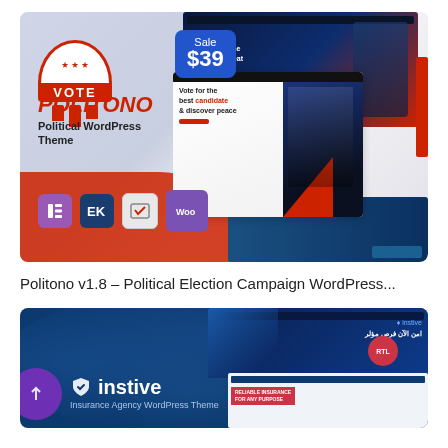[Figure (screenshot): Politono v1.8 Political WordPress Theme promotional banner showing theme screenshots, Sale $39 badge, VOTE logo, plugin compatibility icons (Elementor, EK, form builder, WooCommerce), and theme previews with political campaign imagery.]
Politono v1.8 – Political Election Campaign WordPress...
[Figure (screenshot): Instive Insurance Agency WordPress Theme banner with RTL badge, blue background with wave shapes, Instive logo with shield icon, and insurance website screenshots showing Arabic text and insurance family imagery.]